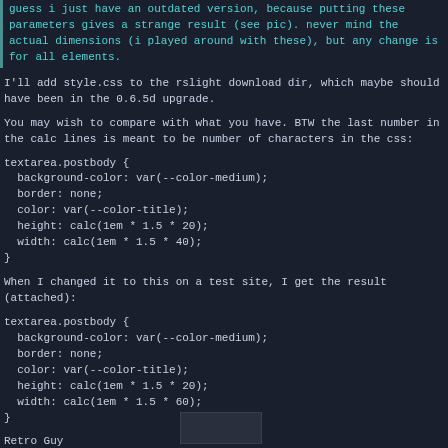guess i just have an outdated version, because putting these parameters gives a strange result (see pic). never mind the actual dimensions (i played around with these), but any change is for all elements.
I'll add style.css to the rslight download dir, which maybe should have been in the 0.6.5d upgrade.
You may wish to compare with what you have. BTW the last number in the calc lines is meant to be number of characters in the css:
textarea.postbody {
  background-color: var(--color-medium);
  border: none;
  color: var(--color-title);
  height: calc(1em * 1.5 * 20);
  width: calc(1em * 1.5 * 40);
}
When I changed it to this on a test site, I get the result (attached):
textarea.postbody {
  background-color: var(--color-medium);
  border: none;
  color: var(--color-title);
  height: calc(1em * 1.5 * 20);
  width: calc(1em * 1.5 * 60);
}
Retro Guy
[Figure (screenshot): Small thumbnail image at bottom of page]